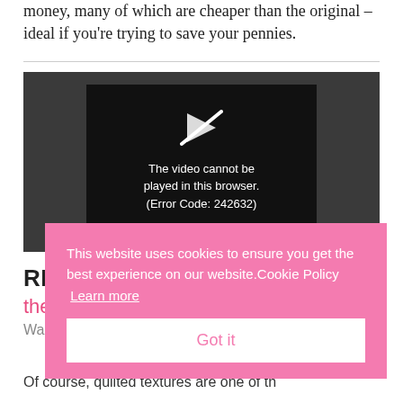money, many of which are cheaper than the original – ideal if you're trying to save your pennies.
[Figure (screenshot): Embedded video player showing error message: 'The video cannot be played in this browser. (Error Code: 242632)']
REA
the
Wa
Of course, quilted textures are one of th
This website uses cookies to ensure you get the best experience on our website.Cookie Policy  Learn more
Got it